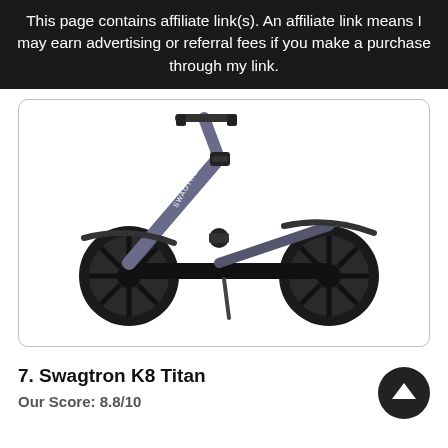This page contains affiliate link(s). An affiliate link means I may earn advertising or referral fees if you make a purchase through my link.
[Figure (photo): A Swagtron K8 Titan kick scooter shown in side profile view. The scooter has a gray/purple aluminum frame, two large black wheels with spoke design, a black deck, and folding mechanism. The brand name SWAGTRON is visible on the stem.]
7. Swagtron K8 Titan
Our Score: 8.8/10